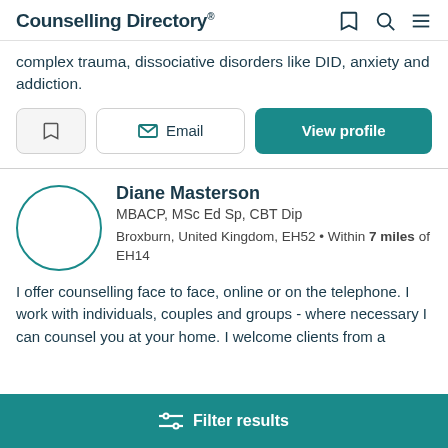Counselling Directory
complex trauma, dissociative disorders like DID, anxiety and addiction.
Bookmark | Email | View profile
Diane Masterson
MBACP, MSc Ed Sp, CBT Dip
Broxburn, United Kingdom, EH52 • Within 7 miles of EH14
I offer counselling face to face, online or on the telephone. I work with individuals, couples and groups - where necessary I can counsel you at your home. I welcome clients from a
Filter results